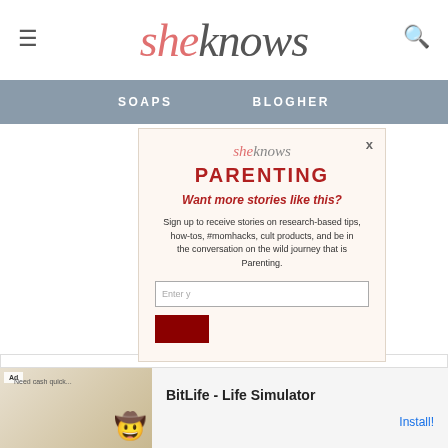sheknows
SOAPS   BLOGHER
[Figure (screenshot): Modal popup for SheKnows Parenting newsletter signup with logo, section title PARENTING, tagline 'Want more stories like this?', body text about signing up, email input field, and dark red submit button with X close button]
OUR SITES
SheKnows is a part of
[Figure (screenshot): Ad banner at bottom showing BitLife - Life Simulator app advertisement with Install button]